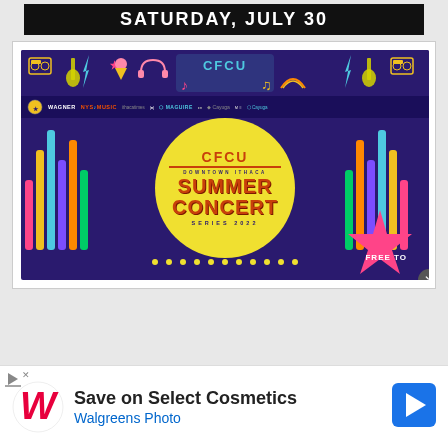SATURDAY, JULY 30
[Figure (illustration): CFCU Downtown Ithaca Summer Concert Series 2022 promotional poster with purple background, yellow circle in center, colorful sound bars, sponsor logos, music-themed icons at top, and 'FREE TO' text with pink star.]
Save on Select Cosmetics Walgreens Photo